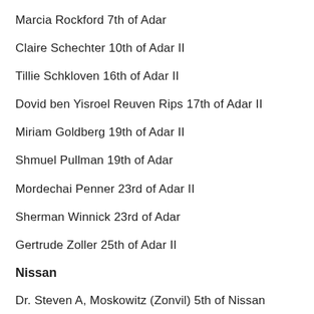Marcia Rockford 7th of Adar
Claire Schechter 10th of Adar II
Tillie Schkloven 16th of Adar II
Dovid ben Yisroel Reuven Rips 17th of Adar II
Miriam Goldberg 19th of Adar II
Shmuel Pullman 19th of Adar
Mordechai Penner 23rd of Adar II
Sherman Winnick 23rd of Adar
Gertrude Zoller 25th of Adar II
Nissan
Dr. Steven A, Moskowitz (Zonvil) 5th of Nissan
Barbra Valancy 14th of Nissan